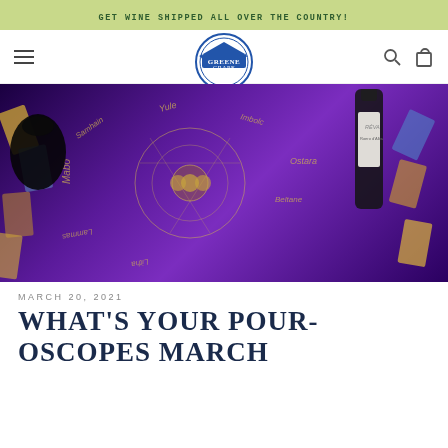GET WINE SHIPPED ALL OVER THE COUNTRY!
[Figure (logo): The Greene Grape logo — circular badge with blue banner, navigation bar with hamburger menu, search and cart icons]
[Figure (photo): A purple Wheel of the Year tarot cloth with gold astronomical/pagan symbols, surrounded by tarot cards and a bottle of Réva Roero d'Alba wine on a dark background]
MARCH 20, 2021
WHAT'S YOUR POUR-OSCOPES MARCH